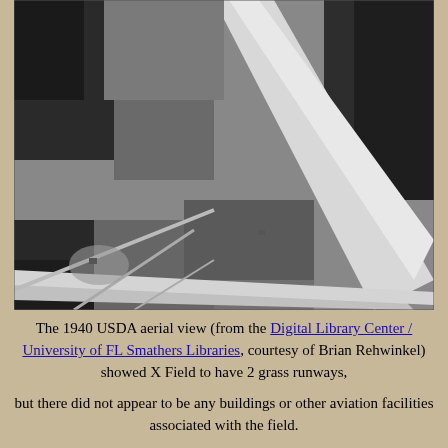[Figure (photo): 1940 USDA aerial black-and-white photograph showing X Field with 2 grass runways visible as bright diagonal strips across agricultural fields and wooded areas.]
The 1940 USDA aerial view (from the Digital Library Center / University of FL Smathers Libraries, courtesy of Brian Rehwinkel) showed X Field to have 2 grass runways,
but there did not appear to be any buildings or other aviation facilities associated with the field.